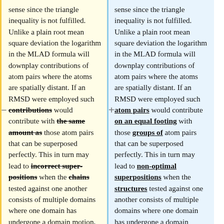sense since the triangle inequality is not fulfilled. Unlike a plain root mean square deviation the logarithm in the MLAD formula will downplay contributions of atom pairs where the atoms are spatially distant. If an RMSD were employed such contributions would contribute with the same amount as those atom pairs that can be superposed perfectly. This in turn may lead to incorrect super-positions when the chains tested against one another consists of multiple domains where one domain has undergone a domain motion, i.e. where a subset of atoms in one chain are bound to be spatially
sense since the triangle inequality is not fulfilled. Unlike a plain root mean square deviation the logarithm in the MLAD formula will downplay contributions of atom pairs where the atoms are spatially distant. If an RMSD were employed such atom pairs would contribute on an equal footing with those groups of atom pairs that can be superposed perfectly. This in turn may lead to non-optimal superpositions when the structures tested against one another consists of multiple domains where one domain has undergone a domain motion, i.e. where a subset of atoms in one